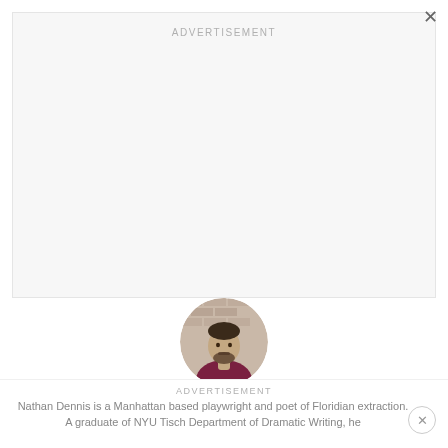×
ADVERTISEMENT
[Figure (photo): Circular author photo of Nathan Dennis — a young bearded man in a dark red shirt standing in front of a brick wall, rendered in muted sepia tones.]
Written by Nathan Dennis
ADVERTISEMENT
Nathan Dennis is a Manhattan based playwright and poet of Floridian extraction. A graduate of NYU Tisch Department of Dramatic Writing, he